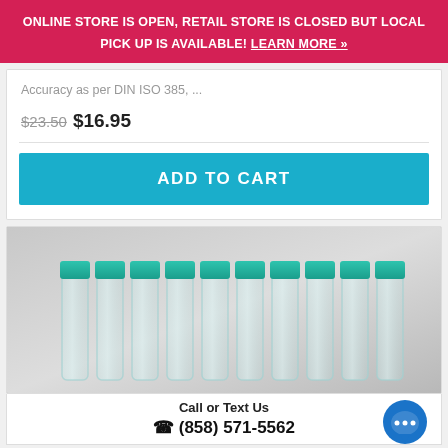ONLINE STORE IS OPEN, RETAIL STORE IS CLOSED BUT LOCAL PICK UP IS AVAILABLE! LEARN MORE »
Accuracy as per DIN ISO 385, ...
$23.50 $16.95
ADD TO CART
[Figure (photo): Rows of laboratory test tubes with teal/green screw caps on a gray background]
Call or Text Us ☎ (858) 571-5562